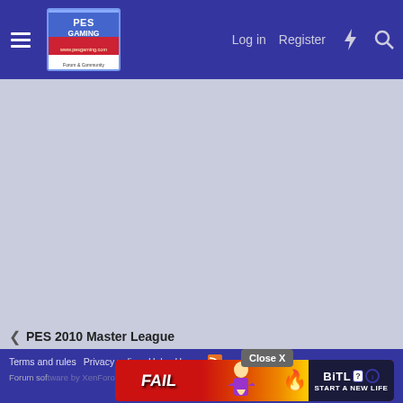PESGaming | Log in | Register
[Figure (screenshot): PESGaming website header with logo, hamburger menu, Log in, Register, lightning bolt and search icons on dark blue background]
[Figure (screenshot): Main light blue-grey content area of the forum page (empty/loading)]
< PES 2010 Master League
Terms and rules | Privacy policy | Help | Home | [RSS] | Close X | Forum software by...
[Figure (screenshot): BitLife advertisement banner overlaying the footer area, showing 'FAIL' text and 'START A NEW LIFE' call to action with Close X button]